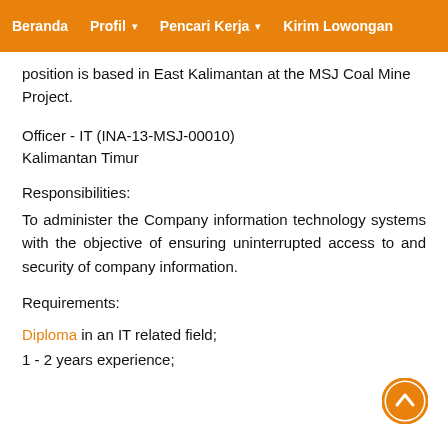Beranda   Profil ▾   Pencari Kerja ▾   Kirim Lowongan
position is based in East Kalimantan at the MSJ Coal Mine Project.
Officer - IT (INA-13-MSJ-00010)
Kalimantan Timur
Responsibilities:
To administer the Company information technology systems with the objective of ensuring uninterrupted access to and security of company information.
Requirements:
Diploma in an IT related field;
1 - 2 years experience;